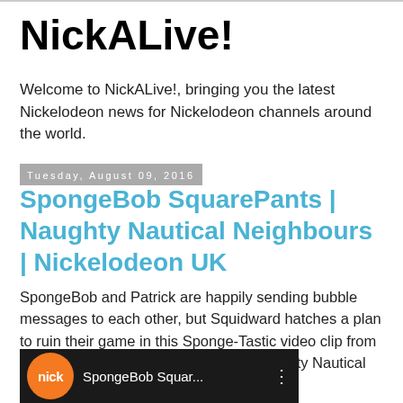NickALive!
Welcome to NickALive!, bringing you the latest Nickelodeon news for Nickelodeon channels around the world.
Tuesday, August 09, 2016
SpongeBob SquarePants | Naughty Nautical Neighbours | Nickelodeon UK
SpongeBob and Patrick are happily sending bubble messages to each other, but Squidward hatches a plan to ruin their game in this Sponge-Tastic video clip from SpongeBob SquarePants episode "Naughty Nautical Neighbours"!:
[Figure (screenshot): Video thumbnail showing Nick logo and SpongeBob SquarePants video title with dark background]